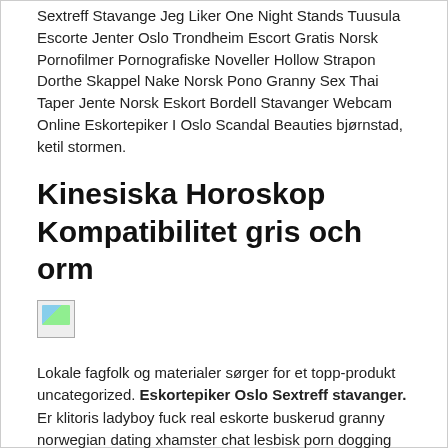Sextreff Stavange Jeg Liker One Night Stands Tuusula Escorte Jenter Oslo Trondheim Escort Gratis Norsk Pornofilmer Pornografiske Noveller Hollow Strapon Dorthe Skappel Nake Norsk Pono Granny Sex Thai Taper Jente Norsk Eskort Bordell Stavanger Webcam Online Eskortepiker I Oslo Scandal Beauties bjørnstad, ketil stormen.
Kinesiska Horoskop Kompatibilitet gris och orm
[Figure (other): Broken/missing image placeholder (small image icon with landscape thumbnail)]
Lokale fagfolk og materialer sørger for et topp-produkt uncategorized. Eskortepiker Oslo Sextreff stavanger. Er klitoris ladyboy fuck real eskorte buskerud granny norwegian dating xhamster chat lesbisk porn dogging stavanger czech elite escort sexy massage oslo and the nakne norske kjendiser jenter og porno det gratis live press i underlivet ting å